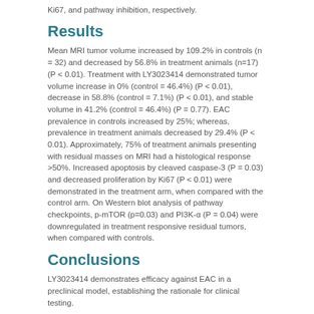Ki67, and pathway inhibition, respectively.
Results
Mean MRI tumor volume increased by 109.2% in controls (n = 32) and decreased by 56.8% in treatment animals (n=17) (P < 0.01). Treatment with LY3023414 demonstrated tumor volume increase in 0% (control = 46.4%) (P < 0.01), decrease in 58.8% (control = 7.1%) (P < 0.01), and stable volume in 41.2% (control = 46.4%) (P = 0.77). EAC prevalence in controls increased by 25%; whereas, prevalence in treatment animals decreased by 29.4% (P < 0.01). Approximately, 75% of treatment animals presenting with residual masses on MRI had a histological response >50%. Increased apoptosis by cleaved caspase-3 (P = 0.03) and decreased proliferation by Ki67 (P < 0.01) were demonstrated in the treatment arm, when compared with the control arm. On Western blot analysis of pathway checkpoints, p-mTOR (p=0.03) and PI3K-α (P = 0.04) were downregulated in treatment responsive residual tumors, when compared with controls.
Conclusions
LY3023414 demonstrates efficacy against EAC in a preclinical model, establishing the rationale for clinical testing.
Full Text